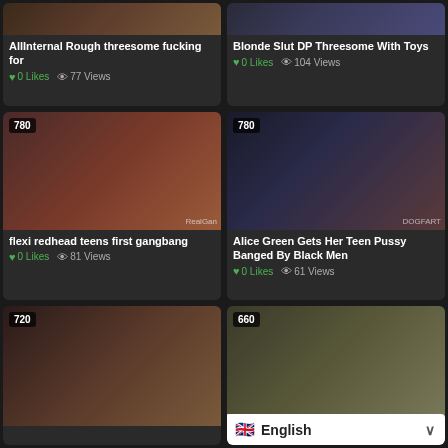[Figure (screenshot): Video thumbnail 1 - top left, partially visible]
AllInternal Rough threesome fucking for
0 Likes  77 Views
[Figure (screenshot): Video thumbnail 2 - top right, partially visible]
Blonde Slut DP Threesome With Toys
0 Likes  104 Views
[Figure (screenshot): Video thumbnail 3 - middle left, badge 780, watermark RealGan]
flexi redhead teens first gangbang
0 Likes  81 Views
[Figure (screenshot): Video thumbnail 4 - middle right, badge 780, watermark DOGFART]
Alice Green Gets Her Teen Pussy Banged By Black Men
0 Likes  61 Views
[Figure (screenshot): Video thumbnail 5 - bottom left, badge 720]
[Figure (screenshot): Video thumbnail 6 - bottom right, badge 660]
English